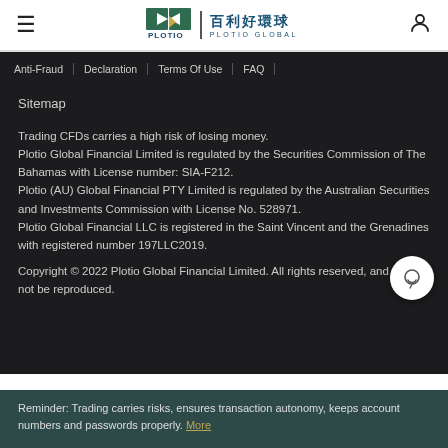PLOTIO | 百利好環球 PLOTIO GLOBAL
Anti-Fraud | Declaration | Terms Of Use | FAQ
Sitemap
Trading CFDs carries a high risk of losing money. Plotio Global Financial Limited is regulated by the Securities Commission of The Bahamas with License number: SIA-F212. Plotio (AU) Global Financial PTY Limited is regulated by the Australian Securities and Investments Commission with License No. 528971. Plotio Global Financial LLC is registered in the Saint Vincent and the Grenadines with registered number 197LLC2019.
Copyright © 2022 Plotio Global Financial Limited. All rights reserved, and may not be reproduced.
Reminder: Trading carries risks, ensures transaction autonomy, keeps account numbers and passwords properly. More